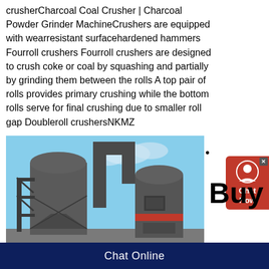crusherCharcoal Coal Crusher | Charcoal Powder Grinder MachineCrushers are equipped with wearresistant surfacehardened hammers Fourroll crushers Fourroll crushers are designed to crush coke or coal by squashing and partially by grinding them between the rolls A top pair of rolls provides primary crushing while the bottom rolls serve for final crushing due to smaller roll gap Doubleroll crushersNKMZ
[Figure (photo): Industrial grinding/crushing machinery with large cylindrical dust collector towers, pipes, and support scaffolding against a blue sky background.]
Buy
Chat Online